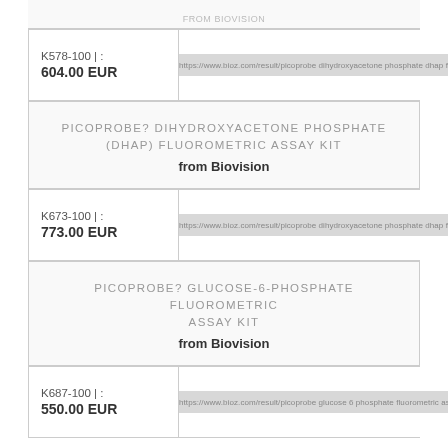from Biovision (partial, top of page)
| Product ID / Price | URL |
| --- | --- |
| K578-100 | : 604.00 EUR | https://www.bioz.com/result/picoprobe dihydroxyacetone phosphate dhap fluorometric assay kit/k |
PICOPROBE? DIHYDROXYACETONE PHOSPHATE (DHAP) FLUOROMETRIC ASSAY KIT
from Biovision
| Product ID / Price | URL |
| --- | --- |
| K673-100 | : 773.00 EUR | https://www.bioz.com/result/picoprobe dihydroxyacetone phosphate dhap fluorometric assay kit/k |
PICOPROBE? GLUCOSE-6-PHOSPHATE FLUOROMETRIC ASSAY KIT
from Biovision
| Product ID / Price | URL |
| --- | --- |
| K687-100 | : 550.00 EUR | https://www.bioz.com/result/picoprobe glucose 6 phosphate fluorometric assay kit/k |